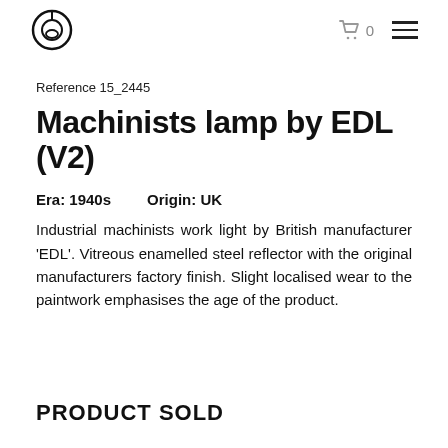Logo | Cart 0 | Menu
Reference 15_2445
Machinists lamp by EDL (V2)
Era: 1940s    Origin: UK
Industrial machinists work light by British manufacturer 'EDL'. Vitreous enamelled steel reflector with the original manufacturers factory finish. Slight localised wear to the paintwork emphasises the age of the product.
PRODUCT SOLD